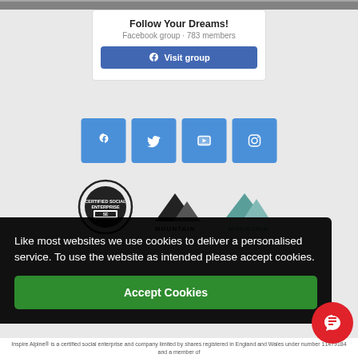[Figure (photo): Top photo strip showing outdoor/mountain scene]
Follow Your Dreams!
Facebook group · 783 members
[Figure (other): Visit group button with Facebook icon]
[Figure (other): Social media icon buttons: Facebook, Twitter, YouTube, Instagram]
[Figure (logo): Certified Social Enterprise logo, Mountain Training logo, Mountain Training teal logo]
Like most websites we use cookies to deliver a personalised service. To use the website as intended please accept cookies.
[Figure (other): Accept Cookies green button]
Inspire Alpine® is a certified social enterprise and company limited by shares registered in England and Wales under number 11479184 and a member of